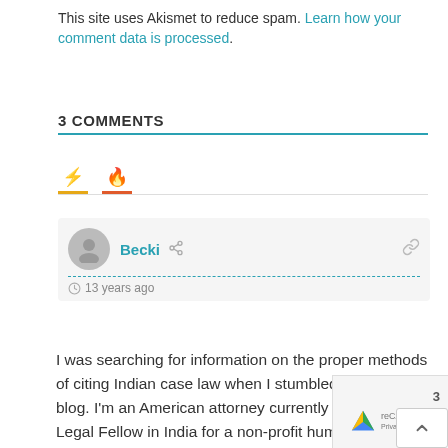This site uses Akismet to reduce spam. Learn how your comment data is processed.
3 COMMENTS
[Figure (other): Tab icons — lightning bolt (orange) and flame (red) for comment sorting tabs]
[Figure (other): Comment by Becki — avatar, name, share icon, link icon, dashed divider, 13 years ago timestamp]
I was searching for information on the proper methods of citing Indian case law when I stumbled upon your blog. I'm an American attorney currently working as a Legal Fellow in India for a non-profit human rights organization. I was wondering if you could point me in the right direction on how to find information regarding the proper ways to cite court decisions and statutes in India.